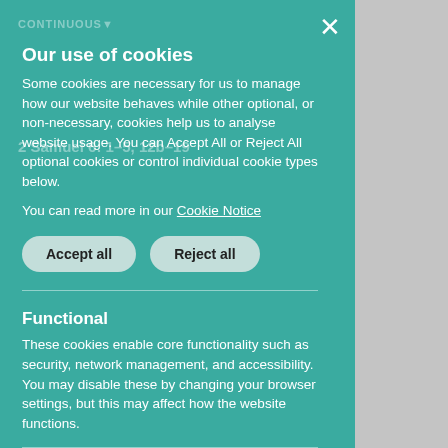[Figure (screenshot): Cookie consent overlay panel on a teal background with close button, showing cookie policy text, Accept all and Reject all buttons, Functional and Analytics cookies sections]
Our use of cookies
Some cookies are necessary for us to manage how our website behaves while other optional, or non-necessary, cookies help us to analyse website usage. You can Accept All or Reject All optional cookies or control individual cookie types below.
You can read more in our Cookie Notice
Functional
These cookies enable core functionality such as security, network management, and accessibility. You may disable these by changing your browser settings, but this may affect how the website functions.
Analytics cookies
Analytical cookies help us to improve our website by collecting and reporting information on its usage.